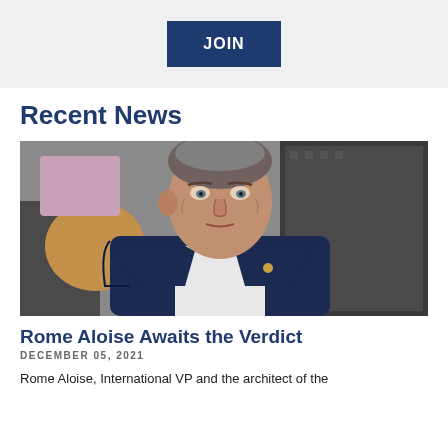[Figure (other): Blue JOIN button on gray background banner]
Recent News
[Figure (photo): Middle-aged man in a dark suit with a pin on his lapel, sitting and looking at the camera, with blurred background]
Rome Aloise Awaits the Verdict
DECEMBER 05, 2021
Rome Aloise, International VP and the architect of the